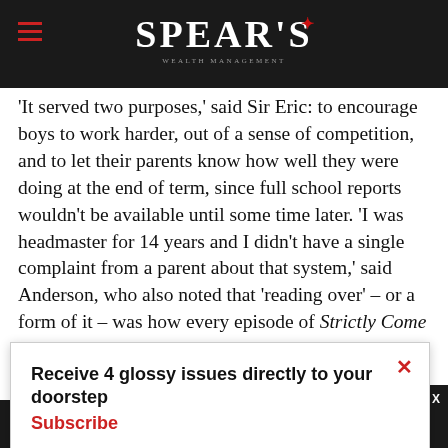SPEAR'S
‘It served two purposes,’ said Sir Eric: to encourage boys to work harder, out of a sense of competition, and to let their parents know how well they were doing at the end of term, since full school reports wouldn’t be available until some time later. ‘I was headmaster for 14 years and I didn’t have a single complaint from a parent about that system,’ said Anderson, who also noted that ‘reading over’ – or a form of it – was how every episode of Strictly Come [Dancing ended] … [from a] Failure boy […] a practice of [s].
Receive 4 glossy issues directly to your doorstep
Subscribe
continue using our all cookies on this
Continue   Learn more